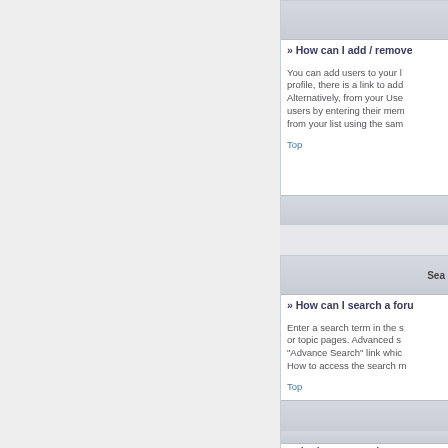» How can I add / remove
You can add users to your profile, there is a link to add. Alternatively, from your User users by entering their men from your list using the sam
Top
Sea
» How can I search a foru
Enter a search term in the s or topic pages. Advanced s "Advance Search" link whic How to access the search m
Top
» Why does my search r